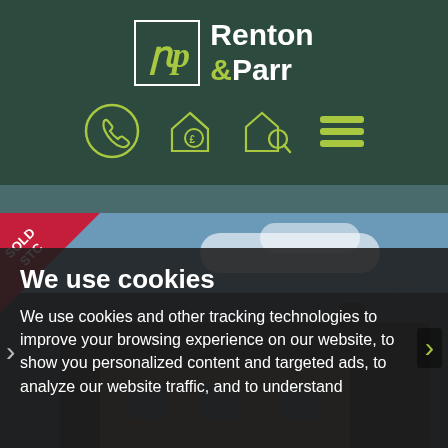[Figure (logo): Renton & Parr estate agents logo with white square border containing stylized 'rp' in olive green, company name in white and olive green on dark green background]
[Figure (infographic): Navigation icons row: phone in circle, house with pound sign, house with search/magnifier, hamburger menu - all in olive green on dark green]
[Figure (photo): Property photograph showing a house with roof, chimney and TV aerial against blue sky, partially obscured by dark overlay and cookie consent dialog. SOLD STC crimson triangle ribbon in top-left corner.]
We use cookies
We use cookies and other tracking technologies to improve your browsing experience on our website, to show you personalized content and targeted ads, to analyze our website traffic, and to understand